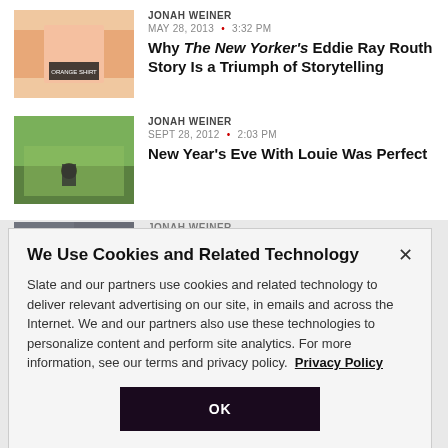JONAH WEINER
MAY 28, 2013 · 3:32 PM
Why The New Yorker's Eddie Ray Routh Story Is a Triumph of Storytelling
JONAH WEINER
SEPT 28, 2012 · 2:03 PM
New Year's Eve With Louie Was Perfect
JONAH WEINER
SEPT 20, 2012 · 11:15 PM
We Use Cookies and Related Technology
Slate and our partners use cookies and related technology to deliver relevant advertising on our site, in emails and across the Internet. We and our partners also use these technologies to personalize content and perform site analytics. For more information, see our terms and privacy policy. Privacy Policy
OK